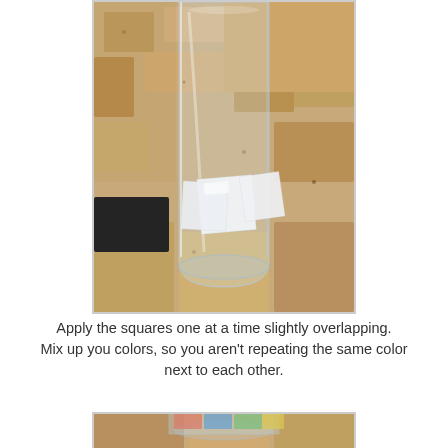[Figure (photo): A clear glass pint cup sitting on a granite countertop. White square tissue-paper pieces are being applied to the lower portion of the glass, slightly overlapping each other. A dark object (marker or pen) is visible on the left side.]
Apply the squares one at a time slightly overlapping. Mix up you colors, so you aren't repeating the same color next to each other.
[Figure (photo): Partial view of the bottom of a glass with colorful tissue paper squares applied, on a granite countertop. Only the top portion of the image is visible.]